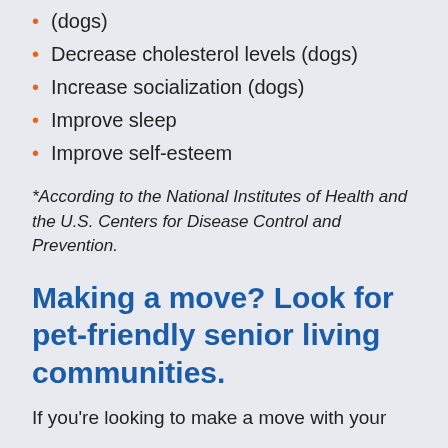(dogs)
Decrease cholesterol levels (dogs)
Increase socialization (dogs)
Improve sleep
Improve self-esteem
*According to the National Institutes of Health and the U.S. Centers for Disease Control and Prevention.
Making a move? Look for pet-friendly senior living communities.
If you're looking to make a move with your